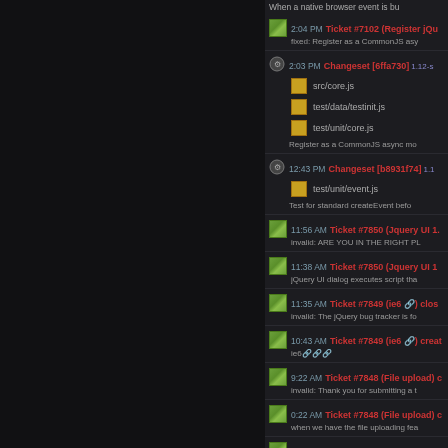When a native browser event is bu…
2:04 PM Ticket #7102 (Register jQu…) fixed: Register as a CommonJS asy…
2:03 PM Changeset [6ffa730] 1.12-s…  src/core.js  test/data/testinit.js  test/unit/core.js  Register as a CommonJS async mo…
12:43 PM Changeset [b8931f74] 1.1…  test/unit/event.js  Test for standard createEvent befo…
11:56 AM Ticket #7850 (Jquery UI 1.… invalid: ARE YOU IN THE RIGHT PL…
11:38 AM Ticket #7850 (Jquery UI 1… jQuery UI dialog executes script tha…
11:35 AM Ticket #7849 (ie6 🔗) clos… invalid: The jQuery bug tracker is fo…
10:43 AM Ticket #7849 (ie6 🔗) creat… ie6🔗🔗🔗
9:22 AM Ticket #7848 (File upload) c… invalid: Thank you for submitting a t…
0:22 AM Ticket #7848 (File upload) c… when we have the file uploading fea…
1:20 AM Ticket #7785 (jQuery throw…